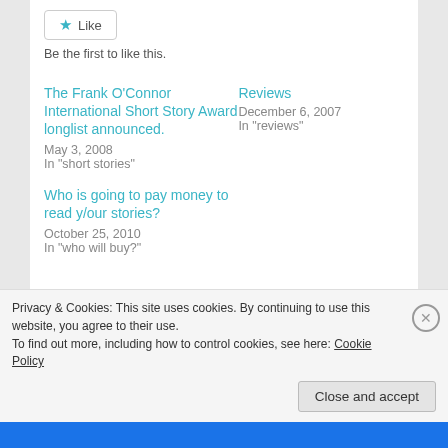[Figure (other): Like button with star icon and text 'Be the first to like this.']
The Frank O'Connor International Short Story Award longlist announced.
May 3, 2008
In "short stories"
Reviews
December 6, 2007
In "reviews"
Who is going to pay money to read y/our stories?
October 25, 2010
In "who will buy?"
Privacy & Cookies: This site uses cookies. By continuing to use this website, you agree to their use.
To find out more, including how to control cookies, see here: Cookie Policy
Close and accept